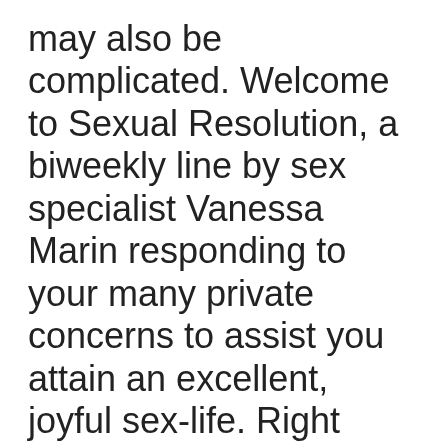may also be complicated. Welcome to Sexual Resolution, a biweekly line by sex specialist Vanessa Marin responding to your many private concerns to assist you attain an excellent, joyful sex-life. Right right Here, she answers concern about rough intercourse.
DEAR VANESSA: i prefer rough intercourse. I have attempted to reveal to my partner in the face that I like it rough, but he assumes it means really intense things like choking or slapping me. I do not like those activities that are specific but he views it as black and white. How can I have him to note that's not the things I want? — Harsh, Yet Not That Harsh, 26